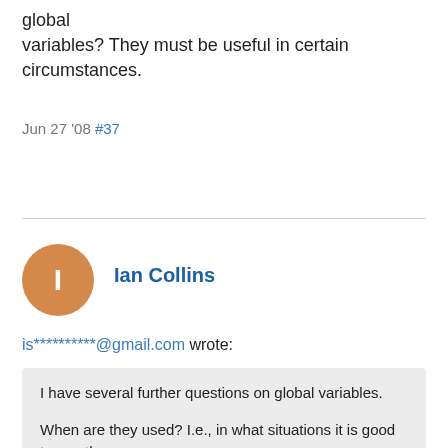global
variables? They must be useful in certain circumstances.
Jun 27 '08 #37
[Figure (illustration): Orange circular avatar with white letter I, representing user Ian Collins]
Ian Collins
is**********@gmail.com wrote:
I have several further questions on global variables.

When are they used? I.e., in what situations it is good to use them.
Hardly any.